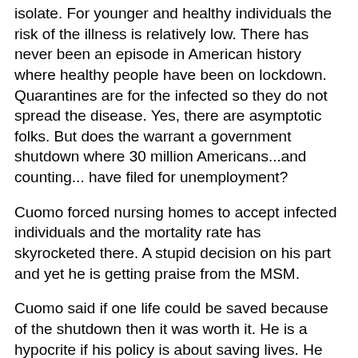isolate. For younger and healthy individuals the risk of the illness is relatively low. There has never been an episode in American history where healthy people have been on lockdown. Quarantines are for the infected so they do not spread the disease. Yes, there are asymptotic folks. But does the warrant a government shutdown where 30 million Americans...and counting... have filed for unemployment?
Cuomo forced nursing homes to accept infected individuals and the mortality rate has skyrocketed there. A stupid decision on his part and yet he is getting praise from the MSM.
Cuomo said if one life could be saved because of the shutdown then it was worth it. He is a hypocrite if his policy is about saving lives. He supports partial birth abortion for crying out load!
There are proven treatments to nip the virus that physicians are using successfully all around the globe. Instead of skepticism because Trump mentioned it, the MSM you would think would rejoice that lives are being saved by